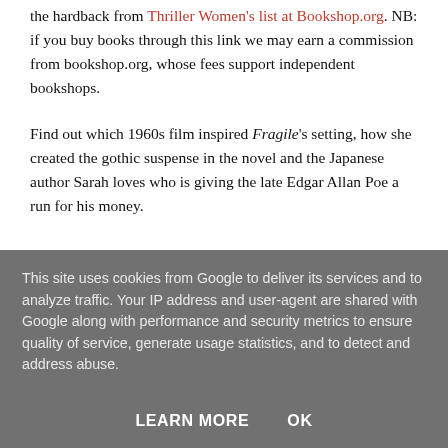the hardback from Thriller Women's list at Bookshop.org. NB: if you buy books through this link we may earn a commission from bookshop.org, whose fees support independent bookshops.
Find out which 1960s film inspired Fragile's setting, how she created the gothic suspense in the novel and the Japanese author Sarah loves who is giving the late Edgar Allan Poe a run for his money.
This site uses cookies from Google to deliver its services and to analyze traffic. Your IP address and user-agent are shared with Google along with performance and security metrics to ensure quality of service, generate usage statistics, and to detect and address abuse.
LEARN MORE   OK